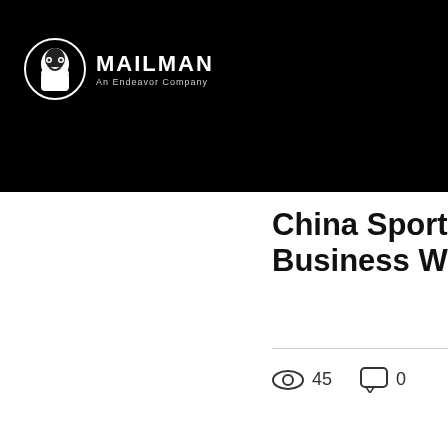MAILMAN — An Endeavor Company
China Sports Business Weekly I...
45 views · 0 comments · Like
[Figure (infographic): Three pagination dots indicating a carousel, with the first dot active]
Home
Mailman
About
Work
Red Card & Reports
Blog
Contact
3rd Age of Sport
MAILMAN X